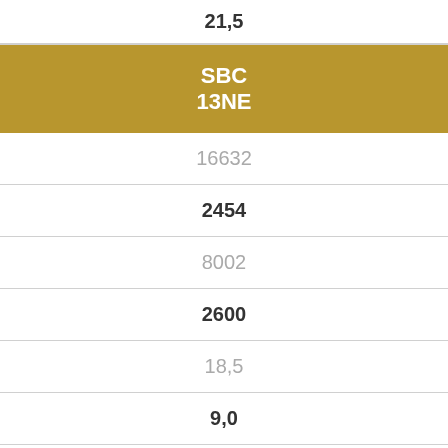| 21,5 |
| SBC
13NE |
| 16632 |
| 2454 |
| 8002 |
| 2600 |
| 18,5 |
| 9,0 |
| 45,5 |
| 22,9 |
| SBC
14NE |